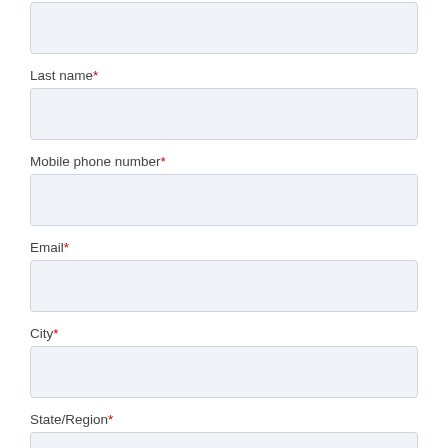[Figure (screenshot): Form input field (top, partially visible) — no label shown]
Last name*
[Figure (screenshot): Form input field for Last name]
Mobile phone number*
[Figure (screenshot): Form input field for Mobile phone number]
Email*
[Figure (screenshot): Form input field for Email]
City*
[Figure (screenshot): Form input field for City]
State/Region*
[Figure (screenshot): Form input field for State/Region (partially visible at bottom)]